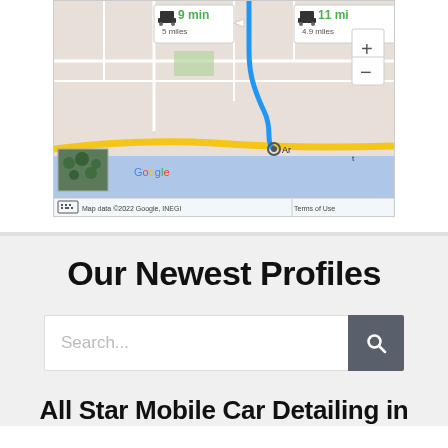[Figure (map): Google Maps screenshot showing driving routes. Route 1: 9 min, 5 miles. Route 2: 11 min, 4.9 miles. Map data ©2022 Google, INEGI. Zoom controls (+/-) visible.]
Our Newest Profiles
Search...
All Star Mobile Car Detailing in